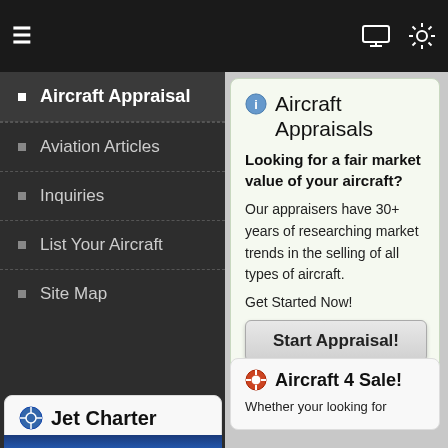≡  [monitor icon] [settings icon]
Aircraft Appraisal
Aviation Articles
Inquiries
List Your Aircraft
Site Map
Aircraft Appraisals
Looking for a fair market value of your aircraft?
Our appraisers have 30+ years of researching market trends in the selling of all types of aircraft.
Get Started Now!
Start Appraisal!
Jet Charter
In order to provide our clients with a more robust line of services, we've teamed up with Richmor Aviation.
Aircraft 4 Sale!
Whether your looking for